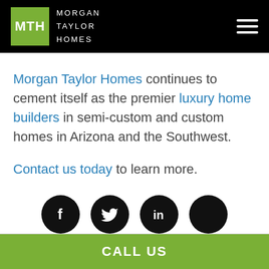MTH MORGAN TAYLOR HOMES
Morgan Taylor Homes continues to cement itself as the premier luxury home builders in semi-custom and custom homes in Arizona and the Southwest.
Contact us today to learn more.
[Figure (other): Social media icon buttons: Facebook, Twitter, LinkedIn, and one more (dark circle)]
CALL US